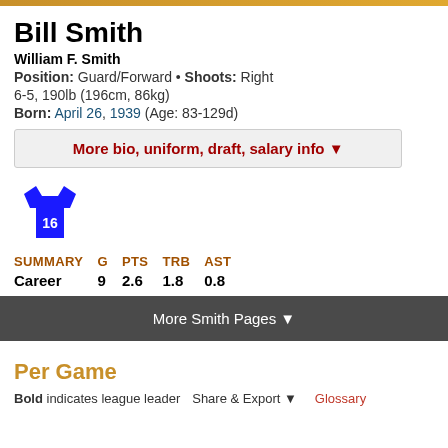Bill Smith
William F. Smith
Position: Guard/Forward • Shoots: Right
6-5, 190lb (196cm, 86kg)
Born: April 26, 1939 (Age: 83-129d)
More bio, uniform, draft, salary info ▼
[Figure (illustration): Blue basketball jersey with number 16]
| SUMMARY | G | PTS | TRB | AST |
| --- | --- | --- | --- | --- |
| Career | 9 | 2.6 | 1.8 | 0.8 |
More Smith Pages ▼
Per Game
Bold indicates league leader   Share & Export ▼   Glossary